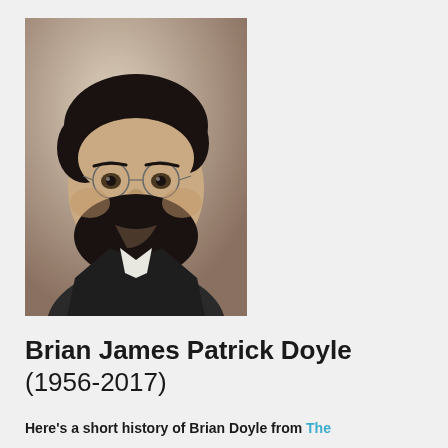[Figure (photo): Black and white portrait photo of Brian Doyle, a bearded man with round wire-framed glasses, smiling slightly, wearing a dark jacket.]
Brian James Patrick Doyle (1956-2017)
Here's a short history of Brian Doyle from The